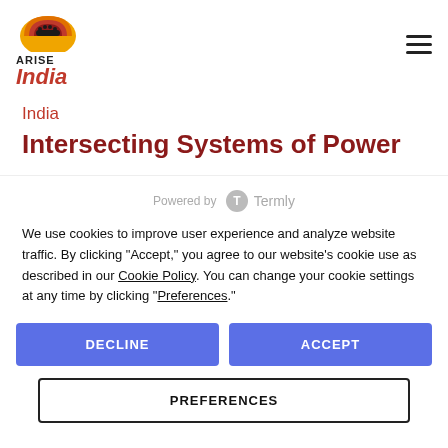[Figure (logo): ARISE India logo with orange/red sunrise graphic and italic red India text]
India
Intersecting Systems of Power
Powered by Termly
We use cookies to improve user experience and analyze website traffic. By clicking “Accept,” you agree to our website’s cookie use as described in our Cookie Policy. You can change your cookie settings at any time by clicking “Preferences.”
DECLINE
ACCEPT
PREFERENCES